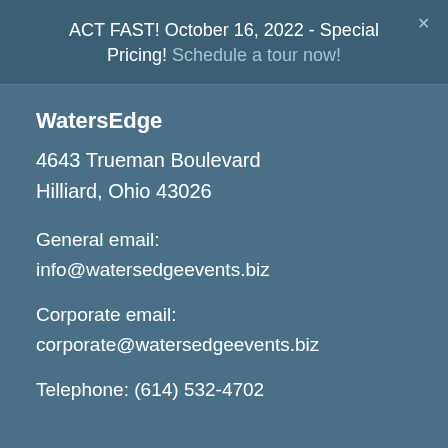ACT FAST! October 16, 2022 - Special Pricing! Schedule a tour now!
WatersEdge
4643 Trueman Boulevard
Hilliard, Ohio 43026
General email:
info@watersedgeevents.biz
Corporate email:
corporate@watersedgeevents.biz
Telephone: (614) 532-4702